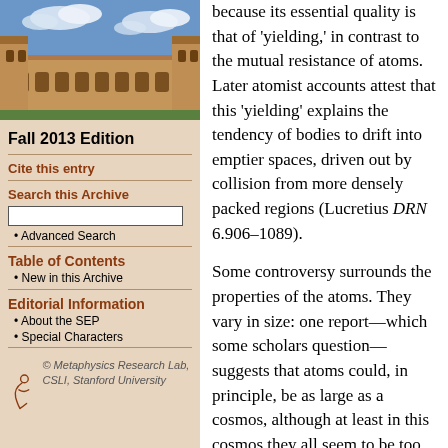[Figure (photo): Photograph of a historic stone university building with towers and arched windows under a cloudy blue sky]
Fall 2013 Edition
Cite this entry
Search this Archive
Advanced Search
Table of Contents
New in this Archive
Editorial Information
About the SEP
Special Characters
[Figure (logo): Metaphysics Research Lab logo — stylized figure, with italic text: © Metaphysics Research Lab, CSLI, Stanford University]
because its essential quality is that of 'yielding,' in contrast to the mutual resistance of atoms. Later atomist accounts attest that this 'yielding' explains the tendency of bodies to drift into emptier spaces, driven out by collision from more densely packed regions (Lucretius DRN 6.906–1089).
Some controversy surrounds the properties of the atoms. They vary in size: one report—which some scholars question—suggests that atoms could, in principle, be as large as a cosmos, although at least in this cosmos they all seem to be too small to perceive (DK 68A47).